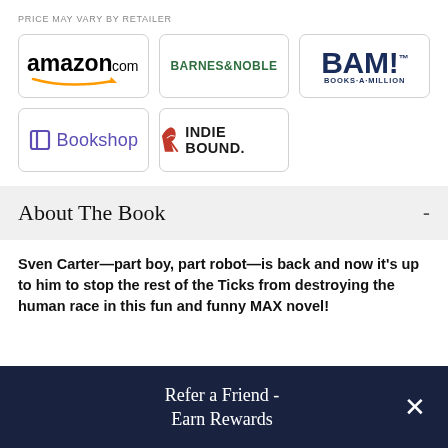PRICE MAY VARY BY RETAILER
[Figure (logo): Amazon.com logo with orange arrow]
[Figure (logo): Barnes & Noble logo in green]
[Figure (logo): BAM! Books-A-Million logo in navy]
[Figure (logo): Bookshop logo with purple B icon]
[Figure (logo): IndieBound logo with red flame mark]
About The Book
Sven Carter—part boy, part robot—is back and now it's up to him to stop the rest of the Ticks from destroying the human race in this fun and funny MAX novel!
Refer a Friend - Earn Rewards